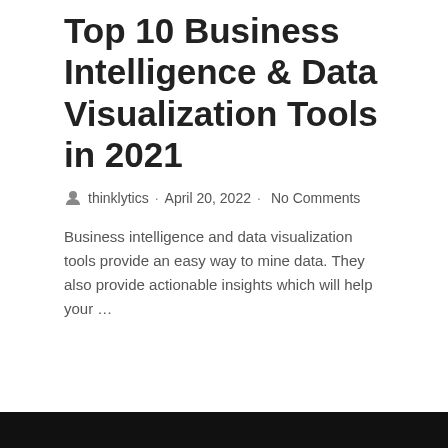Top 10 Business Intelligence & Data Visualization Tools in 2021
thinklytics · April 20, 2022 · No Comments
Business intelligence and data visualization tools provide an easy way to mine data. They also provide actionable insights which will help your …